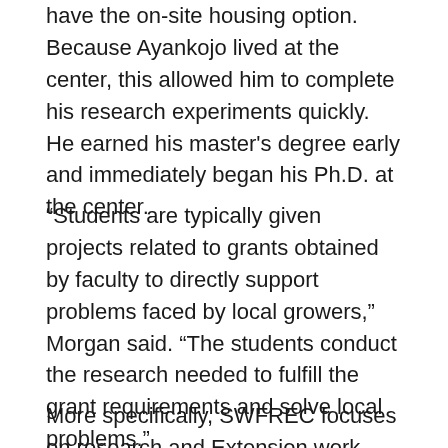have the on-site housing option. Because Ayankojo lived at the center, this allowed him to complete his research experiments quickly. He earned his master's degree early and immediately began his Ph.D. at the center.
“Students are typically given projects related to grants obtained by faculty to directly support problems faced by local growers,” Morgan said. “The students conduct the research needed to fulfill the grant requirements and solve local problems.”
More specifically, SWFREC focuses on research and Extension work with citrus, tomatoes and vegetables, especially peppers. Faculty and graduate students